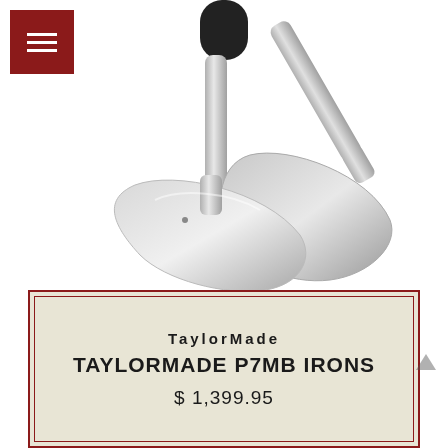[Figure (photo): Two TaylorMade P7MB iron club heads, silver/chrome colored, crossed over each other with black grip visible at top, on white background]
TaylorMade
TAYLORMADE P7MB IRONS
$ 1,399.95